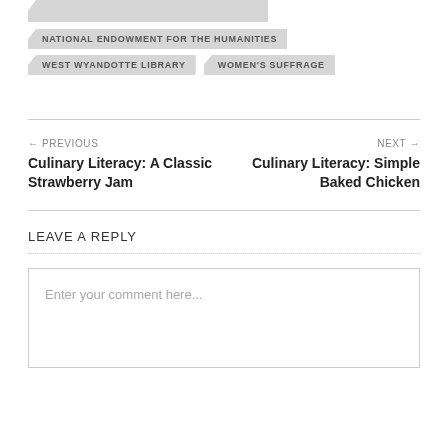NATIONAL ENDOWMENT FOR THE HUMANITIES
WEST WYANDOTTE LIBRARY
WOMEN'S SUFFRAGE
← PREVIOUS
Culinary Literacy: A Classic Strawberry Jam
NEXT →
Culinary Literacy: Simple Baked Chicken
LEAVE A REPLY
Enter your comment here...